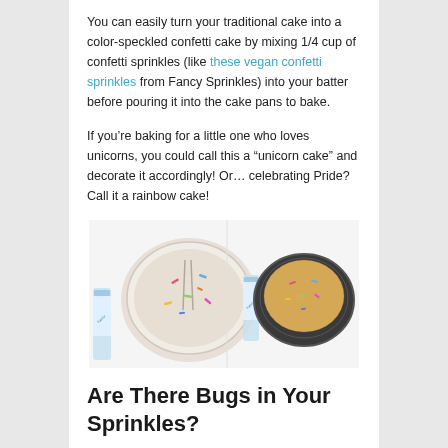You can easily turn your traditional cake into a color-speckled confetti cake by mixing 1/4 cup of confetti sprinkles (like these vegan confetti sprinkles from Fancy Sprinkles) into your batter before pouring it into the cake pans to bake.
If you’re baking for a little one who loves unicorns, you could call this a “unicorn cake” and decorate it accordingly! Or… celebrating Pride? Call it a rainbow cake!
[Figure (photo): Two side-by-side photos: left shows a round container of white cake batter with colorful sprinkles mixed in, with a Fancy Sprinkles jar nearby; right shows a baked round cake in a dark cake pan with visible sprinkles throughout, also with a Fancy Sprinkles jar.]
Are There Bugs in Your Sprinkles?